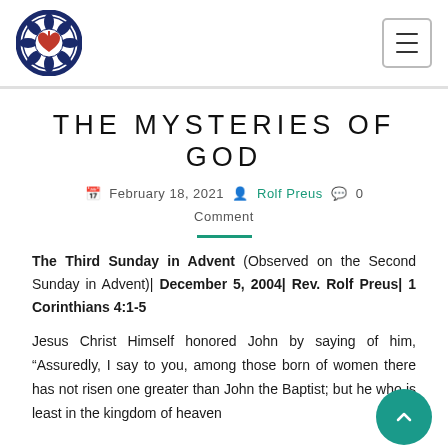[Logo] THE MYSTERIES OF GOD site header with hamburger menu
THE MYSTERIES OF GOD
February 18, 2021  Rolf Preus  0 Comment
The Third Sunday in Advent (Observed on the Second Sunday in Advent)| December 5, 2004| Rev. Rolf Preus| 1 Corinthians 4:1-5
Jesus Christ Himself honored John by saying of him, "Assuredly, I say to you, among those born of women there has not risen one greater than John the Baptist; but he who is least in the kingdom of heaven